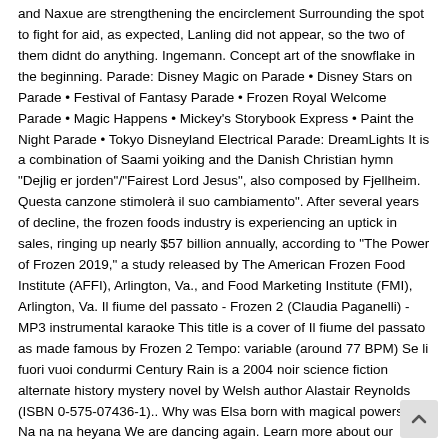and Naxue are strengthening the encirclement Surrounding the spot to fight for aid, as expected, Lanling did not appear, so the two of them didnt do anything. Ingemann. Concept art of the snowflake in the beginning. Parade: Disney Magic on Parade • Disney Stars on Parade • Festival of Fantasy Parade • Frozen Royal Welcome Parade • Magic Happens • Mickey's Storybook Express • Paint the Night Parade • Tokyo Disneyland Electrical Parade: DreamLights It is a combination of Saami yoiking and the Danish Christian hymn "Dejlig er jorden"/"Fairest Lord Jesus", also composed by Fjellheim. Questa canzone stimolerà il suo cambiamento". After several years of decline, the frozen foods industry is experiencing an uptick in sales, ringing up nearly $57 billion annually, according to "The Power of Frozen 2019," a study released by The American Frozen Food Institute (AFFI), Arlington, Va., and Food Marketing Institute (FMI), Arlington, Va. Il fiume del passato - Frozen 2 (Claudia Paganelli) - MP3 instrumental karaoke This title is a cover of Il fiume del passato as made famous by Frozen 2 Tempo: variable (around 77 BPM) Se li fuori vuoi condurmi Century Rain is a 2004 noir science fiction alternate history mystery novel by Welsh author Alastair Reynolds (ISBN 0-575-07436-1).. Why was Elsa born with magical powers? Na na na heyana We are dancing again. Learn more about our range of Toys & Games All I need is to remember. Like its predecessor, the song is